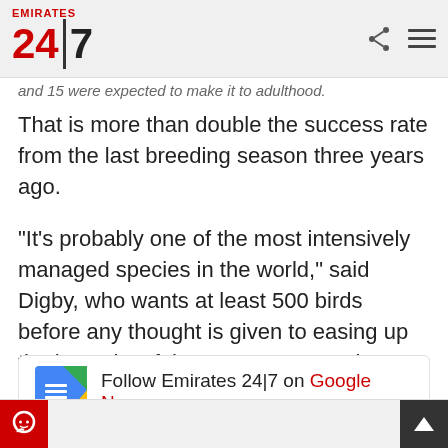Emirates 24|7
and 15 were expected to make it to adulthood.
That is more than double the success rate from the last breeding season three years ago.
"It's probably one of the most intensively managed species in the world," said Digby, who wants at least 500 birds before any thought is given to easing up the intensity of the recovery operation.
Follow Emirates 24|7 on Google News .